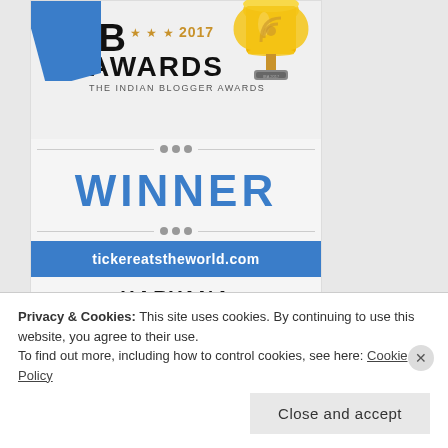[Figure (logo): IB Awards 2017 - The Indian Blogger Awards Winner badge for tickereatstheworld.com in Haryana category, with trophy graphic, WINNER text in blue, blue URL bar, and IndiBlogger logo at the bottom]
Privacy & Cookies: This site uses cookies. By continuing to use this website, you agree to their use.
To find out more, including how to control cookies, see here: Cookie Policy
Close and accept